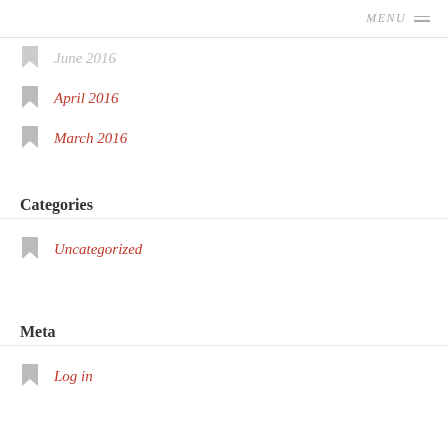MENU
June 2016
April 2016
March 2016
Categories
Uncategorized
Meta
Log in